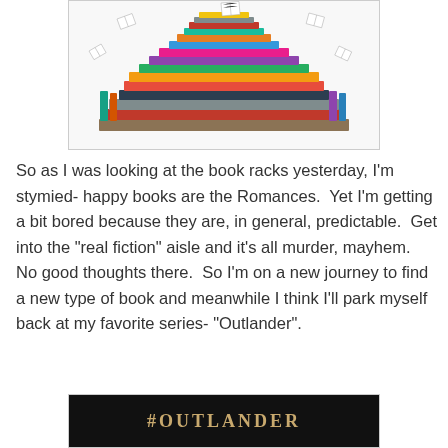[Figure (photo): A large pile of colorful books with open books flying through the air above the stack, on a white background.]
So as I was looking at the book racks yesterday, I'm stymied- happy books are the Romances.  Yet I'm getting a bit bored because they are, in general, predictable.  Get into the "real fiction" aisle and it's all murder, mayhem.  No good thoughts there.  So I'm on a new journey to find a new type of book and meanwhile I think I'll park myself back at my favorite series- "Outlander".
[Figure (photo): Dark image with the text #OUTLANDER in gold/amber letters, appearing to be a book or show promotional image.]